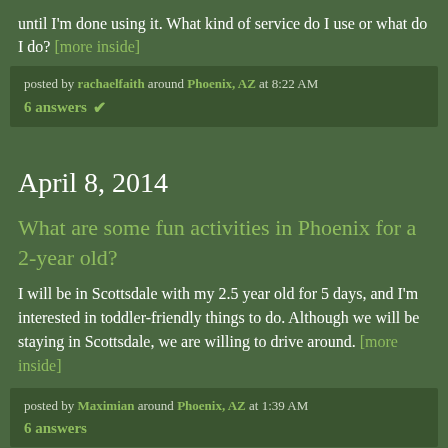until I'm done using it. What kind of service do I use or what do I do? [more inside]
posted by rachaelfaith around Phoenix, AZ at 8:22 AM
6 answers ✓
April 8, 2014
What are some fun activities in Phoenix for a 2-year old?
I will be in Scottsdale with my 2.5 year old for 5 days, and I'm interested in toddler-friendly things to do. Although we will be staying in Scottsdale, we are willing to drive around. [more inside]
posted by Maximian around Phoenix, AZ at 1:39 AM
6 answers
October 27, 2013